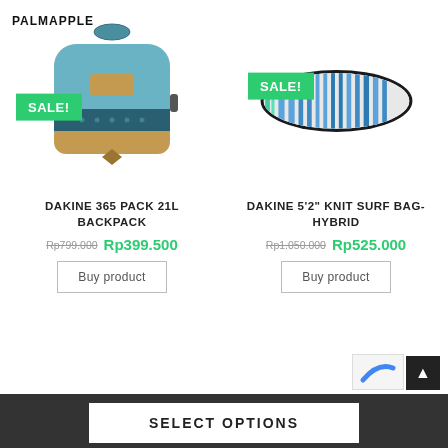PALMAPPLE
[Figure (photo): Teal and tan Dakine 365 Pack 21L backpack with SALE! badge]
[Figure (photo): Dakine 5'2 Knit Surf Bag Hybrid (striped blue/white surfboard bag) with SALE! badge]
DAKINE 365 PACK 21L BACKPACK
DAKINE 5'2" KNIT SURF BAG-HYBRID
Rp799.000 Rp399.500
Rp1.050.000 Rp525.000
Buy product
Buy product
SELECT OPTIONS